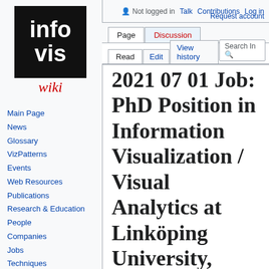Not logged in  Talk  Contributions  Log in  Request account
[Figure (logo): InfoVis Wiki logo: black square with white bold text 'info vis' and red handwritten italic 'wiki' below]
Main Page
News
Glossary
VizPatterns
Events
Web Resources
Publications
Research & Education
People
Companies
Jobs
Techniques
Software
Coffee Room
2021 07 01 Job: PhD Position in Information Visualization / Visual Analytics at Linköping University, Sweden. (Deadline: August 20, 2021): Difference between revisions